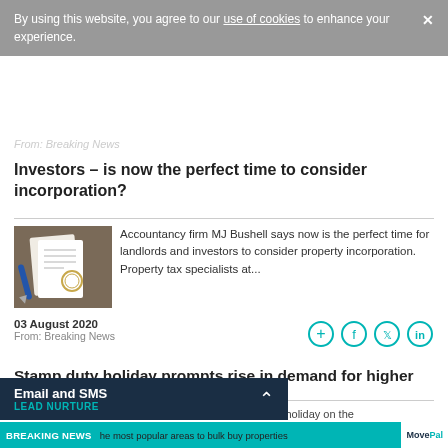By using this website, you agree to our use of cookies to enhance your experience.
From: Breaking News
Investors – is now the perfect time to consider incorporation?
[Figure (photo): Documents and pen on a desk, representing property incorporation paperwork]
Accountancy firm MJ Bushell says now is the perfect time for landlords and investors to consider property incorporation. Property tax specialists at...
03 August 2020
From: Breaking News
Stamp duty holiday prompts rise in demand for higher
cement of a stamp duty holiday on the
Email and SMS LEAD NURTURE
BREAKING NEWS he most popular areas to bulk buy properties MovePal